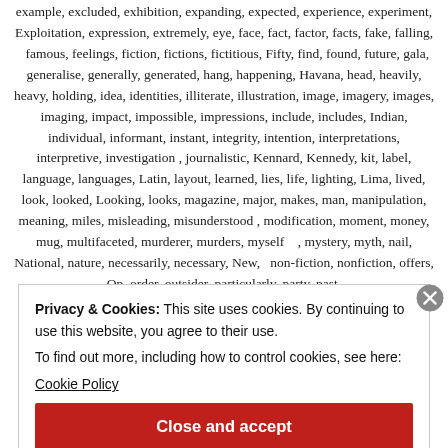example, excluded, exhibition, expanding, expected, experience, experiment, Exploitation, expression, extremely, eye, face, fact, factor, facts, fake, falling, famous, feelings, fiction, fictions, fictitious, Fifty, find, found, future, gala, generalise, generally, generated, hang, happening, Havana, head, heavily, heavy, holding, idea, identities, illiterate, illustration, image, imagery, images, imaging, impact, impossible, impressions, include, includes, Indian, individual, informant, instant, integrity, intention, interpretations, interpretive, investigation, journalistic, Kennard, Kennedy, kit, label, language, languages, Latin, layout, learned, lies, life, lighting, Lima, lived, look, looked, Looking, looks, magazine, major, makes, man, manipulation, meaning, miles, misleading, misunderstood, modification, moment, money, mug, multifaceted, murderer, murders, myself, mystery, myth, nail, National, nature, necessarily, necessary, New, non-fiction, nonfiction, offers, Op, order, outsider, particularly, party, past,
Privacy & Cookies: This site uses cookies. By continuing to use this website, you agree to their use. To find out more, including how to control cookies, see here: Cookie Policy
Close and accept